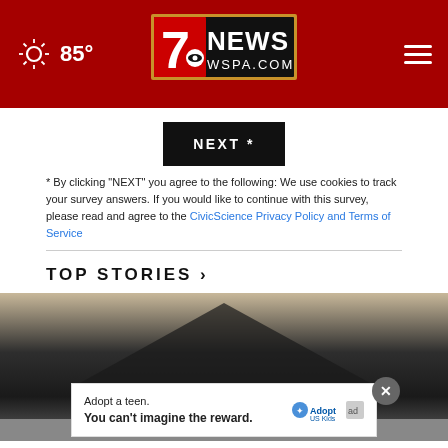85° | 7NEWS WSPA.COM
NEXT *
* By clicking "NEXT" you agree to the following: We use cookies to track your survey answers. If you would like to continue with this survey, please read and agree to the CivicScience Privacy Policy and Terms of Service
TOP STORIES ›
[Figure (photo): News story image showing dark fabric/clothing against a light background, partially obscured.]
[Figure (infographic): Advertisement overlay: 'Adopt a teen. You can't imagine the reward.' with AdoptUSKids logo and ad badge.]